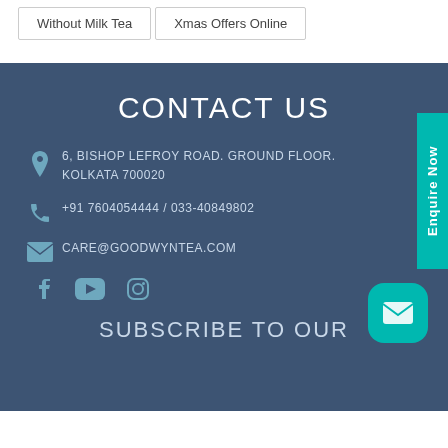Without Milk Tea
Xmas Offers Online
CONTACT US
6, BISHOP LEFROY ROAD. GROUND FLOOR. KOLKATA 700020
+91 7604054444 / 033-40849802
CARE@GOODWYNTEA.COM
Enquire Now
SUBSCRIBE TO OUR